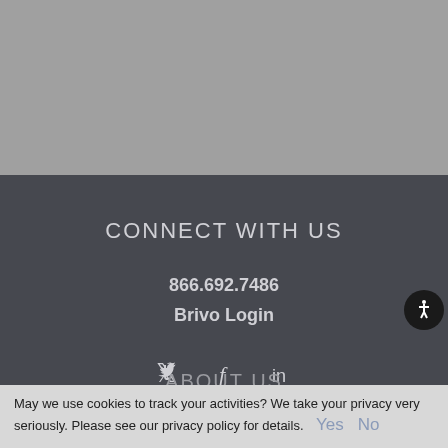[Figure (other): Gray banner area at top of page]
CONNECT WITH US
866.692.7486
Brivo Login
[Figure (other): Social media icons: Twitter, Facebook, LinkedIn]
ABOUT US
Our Mission
CEO Promise
May we use cookies to track your activities? We take your privacy very seriously. Please see our privacy policy for details.  Yes  No